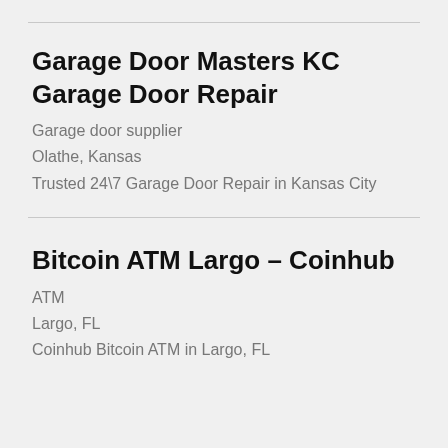Garage Door Masters KC Garage Door Repair
Garage door supplier
Olathe, Kansas
Trusted 24\7 Garage Door Repair in Kansas City
Bitcoin ATM Largo – Coinhub
ATM
Largo, FL
Coinhub Bitcoin ATM in Largo, FL